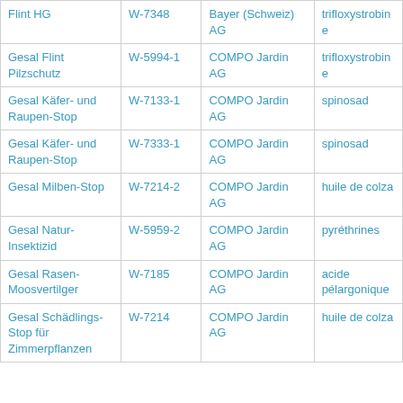| Product | W-Number | Company | Substance |
| --- | --- | --- | --- |
| Flint HG | W-7348 | Bayer (Schweiz) AG | trifloxystrobine |
| Gesal Flint Pilzschutz | W-5994-1 | COMPO Jardin AG | trifloxystrobine |
| Gesal Käfer- und Raupen-Stop | W-7133-1 | COMPO Jardin AG | spinosad |
| Gesal Käfer- und Raupen-Stop | W-7333-1 | COMPO Jardin AG | spinosad |
| Gesal Milben-Stop | W-7214-2 | COMPO Jardin AG | huile de colza |
| Gesal Natur-Insektizid | W-5959-2 | COMPO Jardin AG | pyréthrines |
| Gesal Rasen-Moosvertilger | W-7185 | COMPO Jardin AG | acide pélargonique |
| Gesal Schädlings-Stop für Zimmerpflanzen | W-7214 | COMPO Jardin AG | huile de colza |